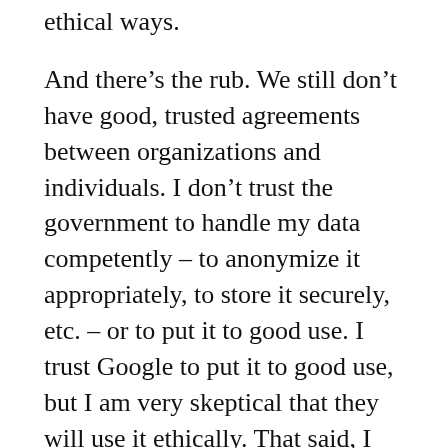ethical ways.
And there’s the rub. We still don’t have good, trusted agreements between organizations and individuals. I don’t trust the government to handle my data competently – to anonymize it appropriately, to store it securely, etc. – or to put it to good use. I trust Google to put it to good use, but I am very skeptical that they will use it ethically. That said, I trust Google a lot more than most companies, which is also potentially misguided.
Way back in the day, I did some work on these kinds of issues in community with good folks like Phil Windley, Doc Searls, and Identity Woman,